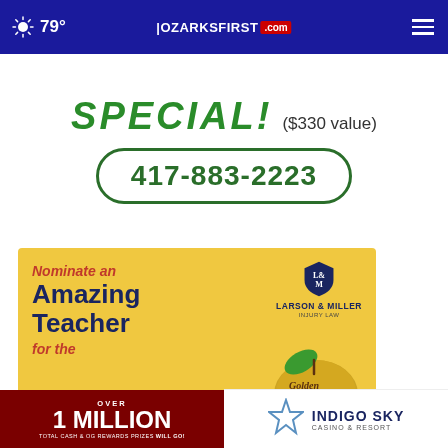79° | OZARKSFIRST.com
[Figure (other): Advertisement showing SPECIAL! ($330 value) text in green with phone number 417-883-2223 in a rounded rectangle]
[Figure (other): Larson & Miller Injury Law advertisement: Nominate an Amazing Teacher for the Golden Apple Award, with yellow background and golden apple graphic]
[Figure (other): Bottom banner: Over 1 Million Total Cash & OG Rewards Prizes Will Go! on dark red background]
[Figure (other): Indigo Sky Casino & Resort logo/banner on white background with star graphic]